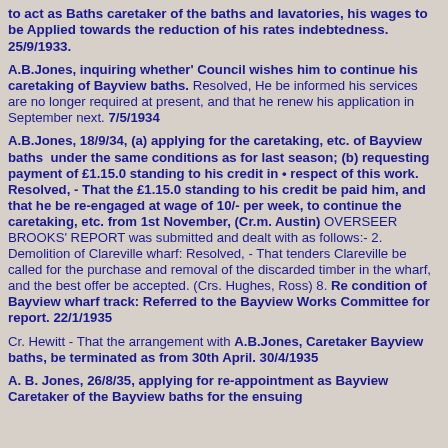to act as Baths caretaker of the baths and lavatories, his wages to be Applied towards the reduction of his rates indebtedness. 25/9/1933.
A.B.Jones, inquiring whether' Council wishes him to continue his caretaking of Bayview baths. Resolved, He be informed his services are no longer required at present, and that he renew his application in September next. 7/5/1934
A.B.Jones, 18/9/34, (a) applying for the caretaking, etc. of Bayview baths under the same conditions as for last season; (b) requesting payment of £1.15.0 standing to his credit in • respect of this work. Resolved, - That the £1.15.0 standing to his credit be paid him, and that he be re-engaged at wage of 10/- per week, to continue the caretaking, etc. from 1st November, (Cr.m. Austin) OVERSEER BROOKS' REPORT was submitted and dealt with as follows:- 2. Demolition of Clareville wharf: Resolved, - That tenders Clareville be called for the purchase and removal of the discarded timber in the wharf, and the best offer be accepted. (Crs. Hughes, Ross) 8. Re condition of Bayview wharf track: Referred to the Bayview Works Committee for report. 22/1/1935
Cr. Hewitt - That the arrangement with A.B.Jones, Caretaker Bayview baths, be terminated as from 30th April. 30/4/1935
A. B. Jones, 26/8/35, applying for re-appointment as Bayview Caretaker of the Bayview baths for the ensuing